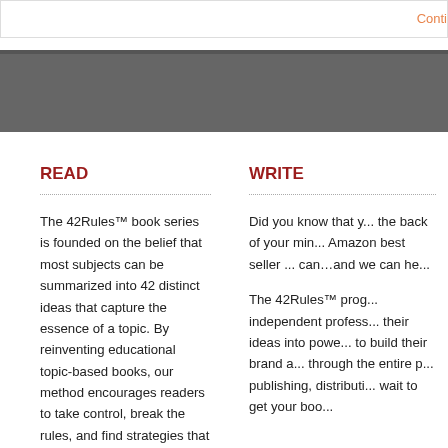Conti...
READ
The 42Rules™ book series is founded on the belief that most subjects can be summarized into 42 distinct ideas that capture the essence of a topic. By reinventing educational topic-based books, our method encourages readers to take control, break the rules, and find strategies that work in their own lives. Since these books are written by experts in the field, they deliver very practical and actionable information.
The goal is to deliver books that you'll actually read.
WRITE
Did you know that y... the back of your min... Amazon best seller ... can…and we can he...
The 42Rules™ prog... independent profess... their ideas into powe... to build their brand a... through the entire p... publishing, distributi... wait to get your boo...